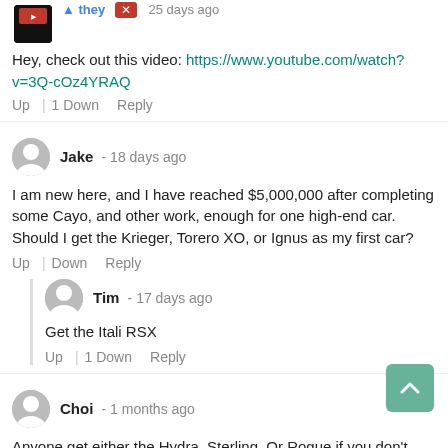Hey, check out this video: https://www.youtube.com/watch?v=3Q-cOz4YRAQ
Up | 1 Down   Reply
Jake - 18 days ago
I am new here, and I have reached $5,000,000 after completing some Cayo, and other work, enough for one high-end car. Should I get the Krieger, Torero XO, or Ignus as my first car?
Up | Down   Reply
Tim - 17 days ago
Get the Itali RSX
Up | 1 Down   Reply
Choi - 1 months ago
Anyone get either the Hydra, Sterling, Or Rogue if you don't have the most money in the world just don't get the B11 it sucks,
Up | 1 Down   Reply